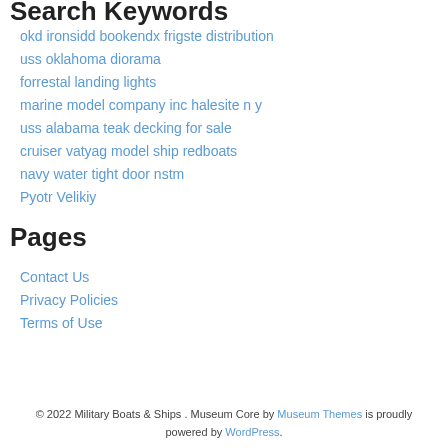Search Keywords
okd ironsidd bookendx frigste distribution
uss oklahoma diorama
forrestal landing lights
marine model company inc halesite n y
uss alabama teak decking for sale
cruiser vatyag model ship redboats
navy water tight door nstm
Pyotr Velikiy
Pages
Contact Us
Privacy Policies
Terms of Use
© 2022 Military Boats & Ships . Museum Core by Museum Themes is proudly powered by WordPress.